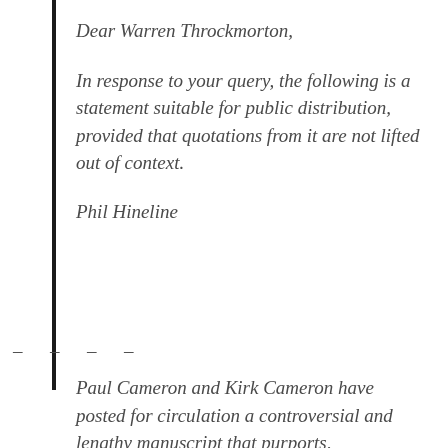Dear Warren Throckmorton,
In response to your query, the following is a statement suitable for public distribution, provided that quotations from it are not lifted out of context.
Phil Hineline
– – – – –
Paul Cameron and Kirk Cameron have posted for circulation a controversial and lengthy manuscript that purports,